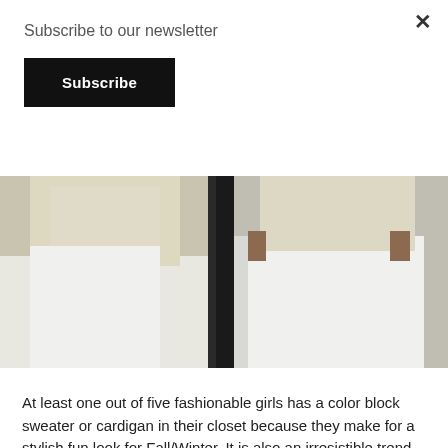Subscribe to our newsletter
Subscribe
[Figure (photo): Two side-by-side fashion photos showing a woman wearing white pants and a light cream/beige top, cropped at torso level. Left image shows a side view; right image shows a front/3-quarter view.]
At least one out of five fashionable girls has a color block sweater or cardigan in their closet because they make for a stylish fun look for Fall/Winter. It is also an irresistible trend that make a cute outfit and this one from Burlington, is definitely a stunner with chic fun colors. I must quickly say Burlington is a place to shop